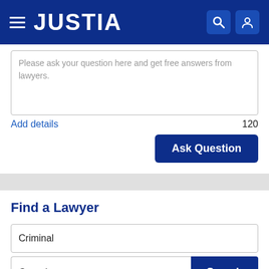JUSTIA
Please ask your question here and get free answers from lawyers.
Add details
120
Ask Question
Find a Lawyer
Criminal
Georgia
Search